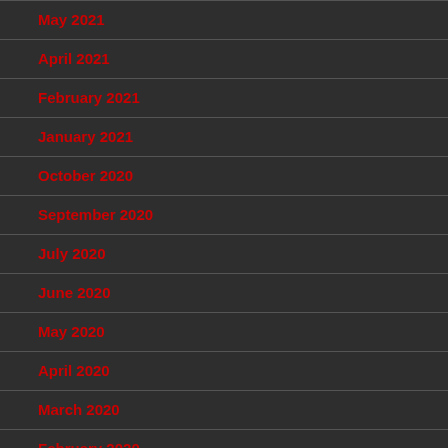May 2021
April 2021
February 2021
January 2021
October 2020
September 2020
July 2020
June 2020
May 2020
April 2020
March 2020
February 2020
January 2020